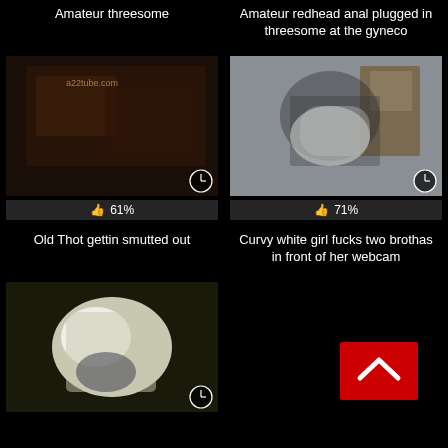Amateur threesome
Amateur redhead anal plugged in threesome at the gyneco
[Figure (photo): Dark thumbnail of amateur threesome video with 61% like rating]
[Figure (photo): Thumbnail of curvy white girl video with 71% like rating]
Old Thot gettin smutted out
Curvy white girl fucks two brothas in front of her webcam
[Figure (photo): Thumbnail of video at bottom left]
[Figure (other): Red scroll-to-top button on dark background]